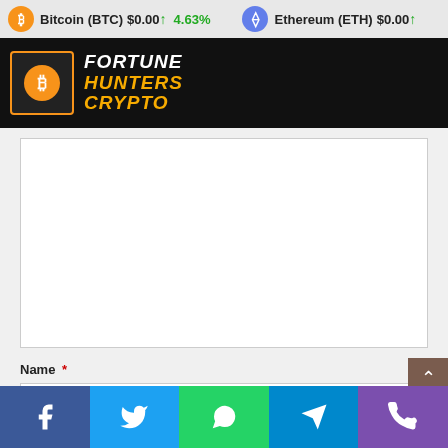Bitcoin (BTC) $0.00 ↑ 4.63% | Ethereum (ETH) $0.00 ↑
[Figure (logo): Fortune Hunters Crypto logo with Bitcoin symbol on dark background]
[Figure (other): Comment text area input box (empty)]
Name *
[Figure (other): Name input field (empty)]
Email *
[Figure (other): Email input field (empty)]
Facebook | Twitter | WhatsApp | Telegram | Phone social share buttons